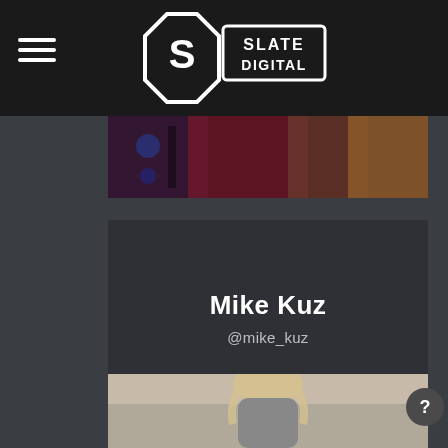[Figure (logo): Slate Digital logo — hexagonal badge with S and 'SLATE DIGITAL' text]
[Figure (photo): Top cropped photo strip showing colorful stage/studio background]
Mike Kuz
@mike_kuz
[Figure (photo): Bottom cropped photo showing a person with blonde hair]